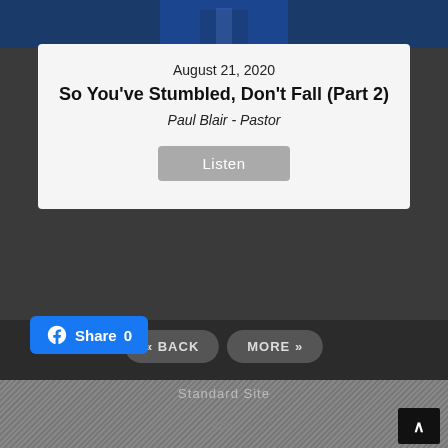[Figure (photo): Top strip showing a man in a blue suit and tie, partial view]
August 21, 2020
So You've Stumbled, Don't Fall (Part 2)
Paul Blair - Pastor
Listen
« BACK
MORE »
[Figure (logo): Series Engine watermark logo with camera icon and text SERIES ENGINE]
Share 0
Standard Site